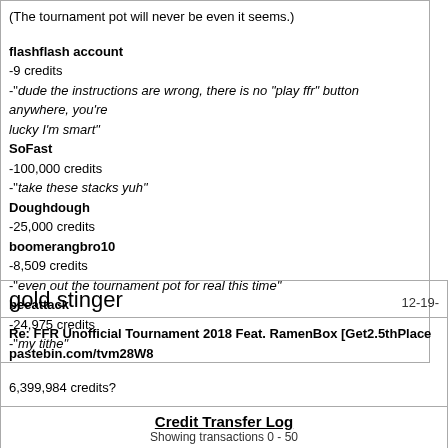(The tournament pot will never be even it seems.)
flashflash account
-9 credits
-"dude the instructions are wrong, there is no "play ffr" button anywhere, you're lucky I'm smart"
SoFast
-100,000 credits
-"take these stacks yuh"
Doughdough
-25,000 credits
boomerangbro10
-8,509 credits
-"even out the tournament pot for real this time"
beeattack
-24,975 credits
-"my tithe"
gold stinger
12-19-
Re: FFR Unofficial Tournament 2018 Feat. RamenBox [Get2.5thPlace
pastebin.com/tvm28W8
6,399,984 credits?
Credit Transfer Log
Showing transactions 0 - 50